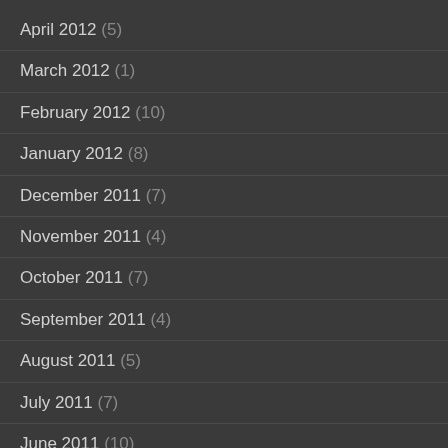April 2012 (5)
March 2012 (1)
February 2012 (10)
January 2012 (8)
December 2011 (7)
November 2011 (4)
October 2011 (7)
September 2011 (4)
August 2011 (5)
July 2011 (7)
June 2011 (10)
May 2011 (8)